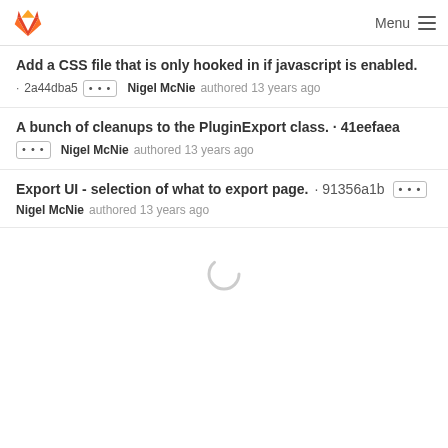GitLab · Menu
Add a CSS file that is only hooked in if javascript is enabled.
· 2a44dba5 ··· Nigel McNie authored 13 years ago
A bunch of cleanups to the PluginExport class. · 41eefaea
··· Nigel McNie authored 13 years ago
Export UI - selection of what to export page. · 91356a1b
Nigel McNie authored 13 years ago
[Figure (other): Loading spinner circle indicator]